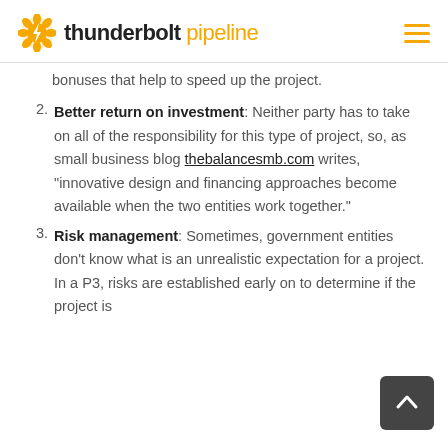thunderbolt pipeline
bonuses that help to speed up the project.
Better return on investment: Neither party has to take on all of the responsibility for this type of project, so, as small business blog thebalancesmb.com writes, “innovative design and financing approaches become available when the two entities work together.”
Risk management: Sometimes, government entities don’t know what is an unrealistic expectation for a project. In a P3, risks are established early on to determine if the project is